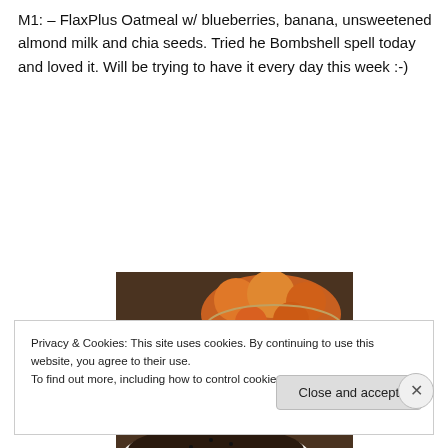M1: – FlaxPlus Oatmeal w/ blueberries, banana, unsweetened almond milk and chia seeds. Tried he Bombshell spell today and loved it. Will be trying to have it every day this week :-)
[Figure (photo): Photo of a glass of yellow/green drink with ice and a lime slice, oranges in a bowl in the background, and a dark food (oatmeal) in a white bowl in the foreground, on a wooden table.]
Privacy & Cookies: This site uses cookies. By continuing to use this website, you agree to their use.
To find out more, including how to control cookies, see here: Cookie Policy
Close and accept